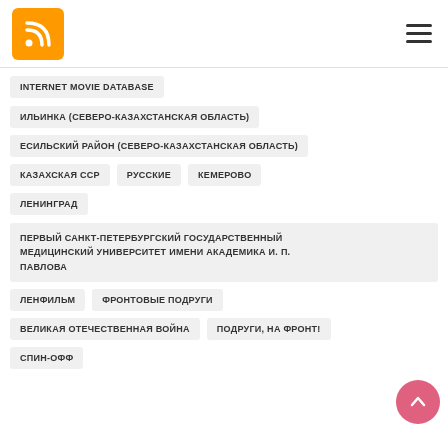RSS icon and hamburger menu
INTERNET MOVIE DATABASE
ИЛЬИНКА (СЕВЕРО-КАЗАХСТАНСКАЯ ОБЛАСТЬ)
ЕСИЛЬСКИЙ РАЙОН (СЕВЕРО-КАЗАХСТАНСКАЯ ОБЛАСТЬ)
КАЗАХСКАЯ ССР
РУССКИЕ
КЕМЕРОВО
ЛЕНИНГРАД
ПЕРВЫЙ САНКТ-ПЕТЕРБУРГСКИЙ ГОСУДАРСТВЕННЫЙ МЕДИЦИНСКИЙ УНИВЕРСИТЕТ ИМЕНИ АКАДЕМИКА И. П. ПАВЛОВА
ЛЕНФИЛЬМ
ФРОНТОВЫЕ ПОДРУГИ
ВЕЛИКАЯ ОТЕЧЕСТВЕННАЯ ВОЙНА
ПОДРУГИ, НА ФРОНТ!
СПИН-ОФФ